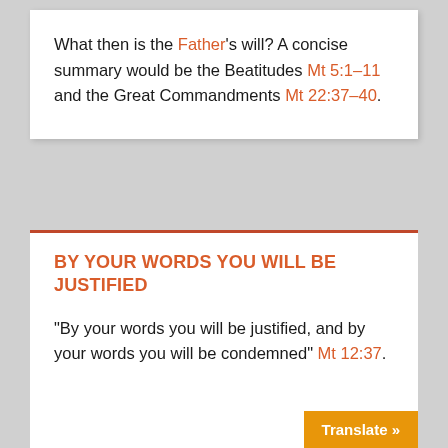What then is the Father's will? A concise summary would be the Beatitudes Mt 5:1–11 and the Great Commandments Mt 22:37–40.
BY YOUR WORDS YOU WILL BE JUSTIFIED
“By your words you will be justified, and by your words you will be condemned” Mt 12:37.